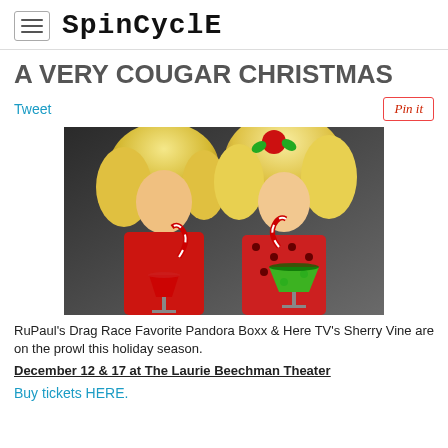SpinCycle
A VERY COUGAR CHRISTMAS
Tweet
[Figure (photo): Two performers dressed in festive red outfits with blonde wigs, holding Christmas-themed martini glasses and candy canes. Left figure wears a red sequined outfit, right figure wears a red polka-dot dress with a holiday flower in hair.]
RuPaul's Drag Race Favorite Pandora Boxx & Here TV's Sherry Vine are on the prowl this holiday season.
December 12 & 17 at The Laurie Beechman Theater
Buy tickets HERE.